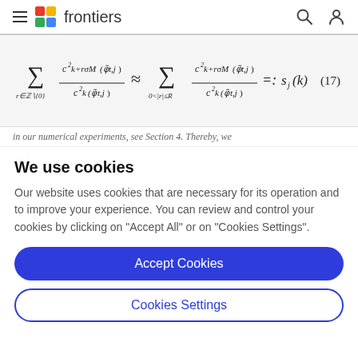frontiers
in our numerical experiments, see Section 4. Thereby, we
We use cookies
Our website uses cookies that are necessary for its operation and to improve your experience. You can review and control your cookies by clicking on "Accept All" or on "Cookies Settings".
Accept Cookies
Cookies Settings